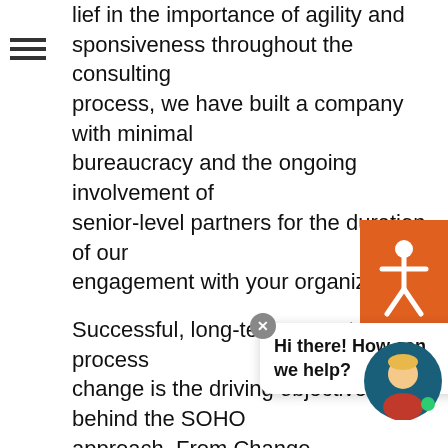lief in the importance of agility and sponsiveness throughout the consulting process, we have built a company with minimal bureaucracy and the ongoing involvement of senior-level partners for the duration of our engagement with your organization.
Successful, long-term acceptance of process change is the driving objective behind the SOHO approach. From Change Management Leadership to Process Optimization and other core service areas, SOHO consultants are personally invested in the strategic outcomes and growth in your business.
To learn more ab... am apply our unique ... nd methodology to your organization's most critical